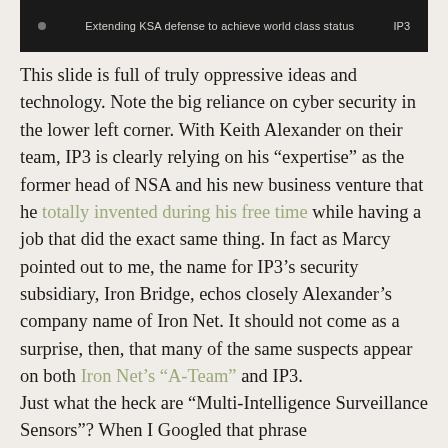[Figure (screenshot): Dark banner/slide image showing text 'Extending KSA defense to achieve world class status' and label 'IP3' on the right side]
This slide is full of truly oppressive ideas and technology. Note the big reliance on cyber security in the lower left corner. With Keith Alexander on their team, IP3 is clearly relying on his “expertise” as the former head of NSA and his new business venture that he totally invented during his free time while having a job that did the exact same thing. In fact as Marcy pointed out to me, the name for IP3’s security subsidiary, Iron Bridge, echos closely Alexander’s company name of Iron Net. It should not come as a surprise, then, that many of the same suspects appear on both Iron Net’s “A-Team” and IP3.
Just what the heck are “Multi-Intelligence Surveillance Sensors”? When I Googled that phrase